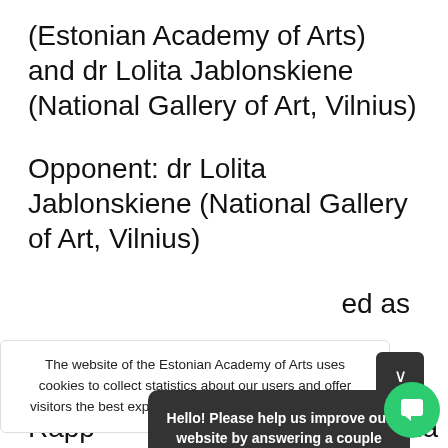(Estonian Academy of Arts) and dr Lolita Jablonskiene (National Gallery of Art, Vilnius)
Opponent: dr Lolita Jablonskiene (National Gallery of Art, Vilnius)
ed as
The website of the Estonian Academy of Arts uses cookies to collect statistics about our users and offer visitors the best experience. Do you agree to the use of
Hello! Please help us improve our website by answering a couple questions:
Reply
Rapp
ur la